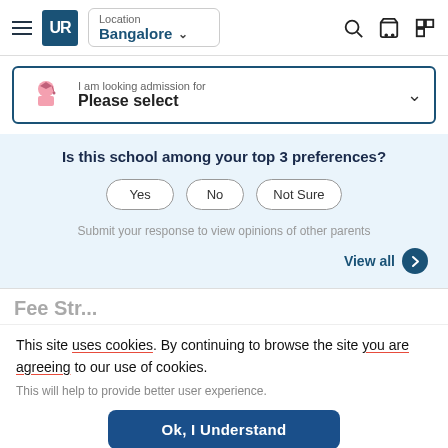[Figure (screenshot): Website header with hamburger menu, UR logo, Bangalore location selector, search icon, cart icon, and grid icon]
I am looking admission for
Please select
Is this school among your top 3 preferences?
Yes   No   Not Sure
Submit your response to view opinions of other parents
View all
This site uses cookies. By continuing to browse the site you are agreeing to our use of cookies.
This will help to provide better user experience.
Ok, I Understand